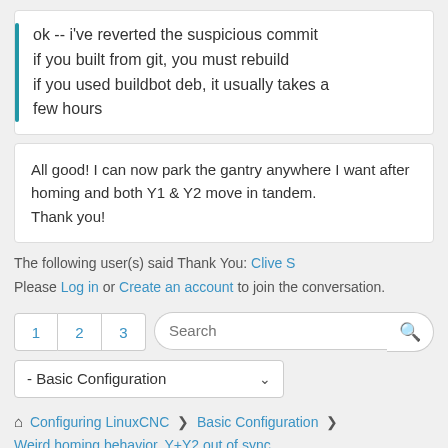ok -- i've reverted the suspicious commit
if you built from git, you must rebuild
if you used buildbot deb, it usually takes a few hours
All good! I can now park the gantry anywhere I want after homing and both Y1 & Y2 move in tandem.
Thank you!
The following user(s) said Thank You: Clive S
Please Log in or Create an account to join the conversation.
1  2  3  [Search]  - Basic Configuration
🏠 Configuring LinuxCNC > Basic Configuration > Weird homing behavior. Y+Y2 out of sync